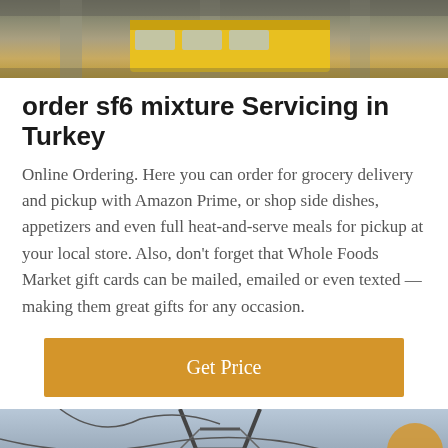[Figure (photo): Top portion of a photo showing a yellow school bus or vehicle under a covered structure with concrete pillars.]
order sf6 mixture Servicing in Turkey
Online Ordering. Here you can order for grocery delivery and pickup with Amazon Prime, or shop side dishes, appetizers and even full heat-and-serve meals for pickup at your local store. Also, don't forget that Whole Foods Market gift cards can be mailed, emailed or even texted — making them great gifts for any occasion.
[Figure (other): Orange/amber button with white text 'Get Price']
[Figure (photo): Bottom photo showing electrical transmission tower/wires against a sky background, with a dark bottom bar showing 'Leave Message' on left and 'Chat Online' on right, and a customer service representative avatar in the center.]